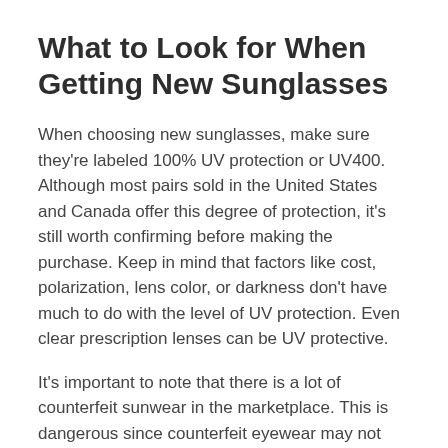What to Look for When Getting New Sunglasses
When choosing new sunglasses, make sure they're labeled 100% UV protection or UV400. Although most pairs sold in the United States and Canada offer this degree of protection, it's still worth confirming before making the purchase. Keep in mind that factors like cost, polarization, lens color, or darkness don't have much to do with the level of UV protection. Even clear prescription lenses can be UV protective.
It's important to note that there is a lot of counterfeit sunwear in the marketplace. This is dangerous since counterfeit eyewear may not provide much-needed ultraviolet protection. So if the price of a renowned brand is too good to be true, it's probably a fake.
The size and fit of the sunglasses is important. Bigger is definitely better if you spend a lot of time outdoors. Larger wrap-around eyewear is best if you regularly ski or spend many hours in the